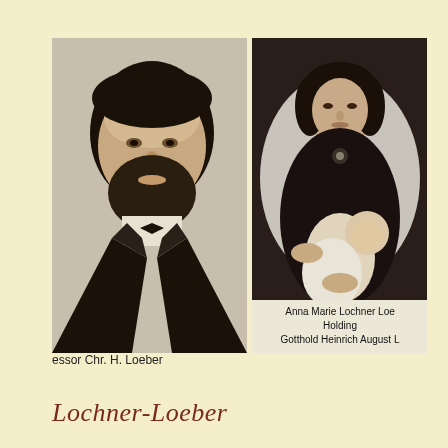[Figure (photo): Two side-by-side historical black and white portrait photographs. Left: a bearded man in a dark suit with bow tie, identified as Professor Chr. H. Loeber. Right: a woman in dark clothing holding an infant, identified as Anna Marie Lochner Loeber holding Gotthold Heinrich August L.]
essor Chr. H. Loeber
Anna Marie Lochner Loe
Holding
Gotthold Heinrich August L
Lochner-Loeber